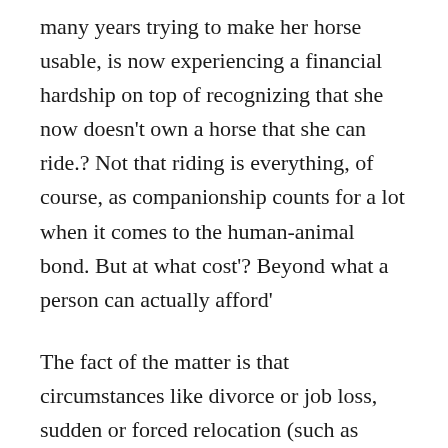many years trying to make her horse usable, is now experiencing a financial hardship on top of recognizing that she now doesn't own a horse that she can ride.? Not that riding is everything, of course, as companionship counts for a lot when it comes to the human-animal bond. But at what cost'? Beyond what a person can actually afford'
The fact of the matter is that circumstances like divorce or job loss, sudden or forced relocation (such as foreclosure), and owner health crises are frequently associated with owners exploring the option of euthanasia.? Beyond these, euthanasia may also come to mind when a horse is lame or unable to be ridden for other reasons (such as